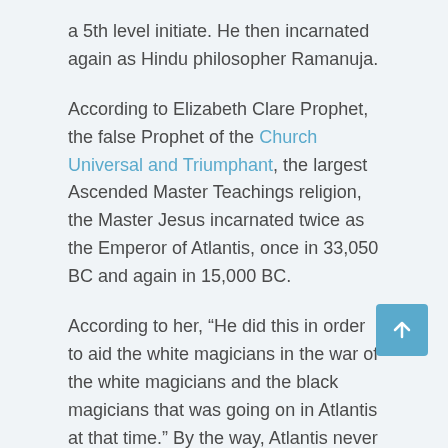a 5th level initiate. He then incarnated again as Hindu philosopher Ramanuja.
According to Elizabeth Clare Prophet, the false Prophet of the Church Universal and Triumphant, the largest Ascended Master Teachings religion, the Master Jesus incarnated twice as the Emperor of Atlantis, once in 33,050 BC and again in 15,000 BC.
According to her, “He did this in order to aid the white magicians in the war of the white magicians and the black magicians that was going on in Atlantis at that time.” By the way, Atlantis never existed and I will prove that it’s all part of the Satanic deception in another article/video.